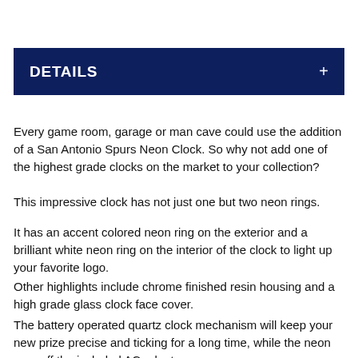DETAILS
Every game room, garage or man cave could use the addition of a San Antonio Spurs Neon Clock. So why not add one of the highest grade clocks on the market to your collection?
This impressive clock has not just one but two neon rings.
It has an accent colored neon ring on the exterior and a brilliant white neon ring on the interior of the clock to light up your favorite logo.
Other highlights include chrome finished resin housing and a high grade glass clock face cover.
The battery operated quartz clock mechanism will keep your new prize precise and ticking for a long time, while the neon runs off the included AC adapter.